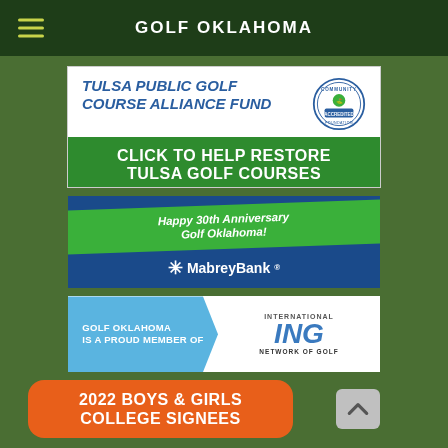GOLF OKLAHOMA
[Figure (infographic): Tulsa Public Golf Course Alliance Fund advertisement with blue italic title text, community accredited foundation badge, and green banner saying 'CLICK TO HELP RESTORE TULSA GOLF COURSES']
[Figure (infographic): MabreyBank advertisement on dark blue background with green ribbon banner saying 'Happy 30th Anniversary Golf Oklahoma!' and MabreyBank logo]
[Figure (infographic): International Network of Golf (ING) advertisement with blue chevron shape on left saying 'GOLF OKLAHOMA IS A PROUD MEMBER OF' and ING logo on right]
[Figure (infographic): Orange rounded rectangle banner with white bold text '2022 BOYS & GIRLS COLLEGE SIGNEES']